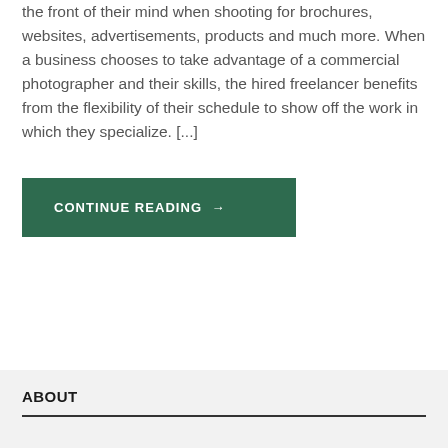the front of their mind when shooting for brochures, websites, advertisements, products and much more. When a business chooses to take advantage of a commercial photographer and their skills, the hired freelancer benefits from the flexibility of their schedule to show off the work in which they specialize. [...]
CONTINUE READING →
ABOUT